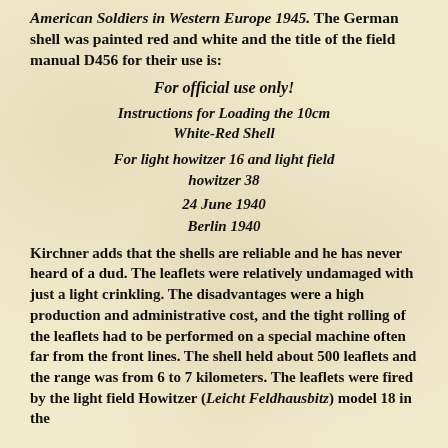American Soldiers in Western Europe 1945. The German shell was painted red and white and the title of the field manual D456 for their use is:
For official use only!
Instructions for Loading the 10cm White-Red Shell
For light howitzer 16 and light field howitzer 38
24 June 1940
Berlin 1940
Kirchner adds that the shells are reliable and he has never heard of a dud. The leaflets were relatively undamaged with just a light crinkling. The disadvantages were a high production and administrative cost, and the tight rolling of the leaflets had to be performed on a special machine often far from the front lines. The shell held about 500 leaflets and the range was from 6 to 7 kilometers. The leaflets were fired by the light field Howitzer (Leicht Feldhausbitz) model 18 in the